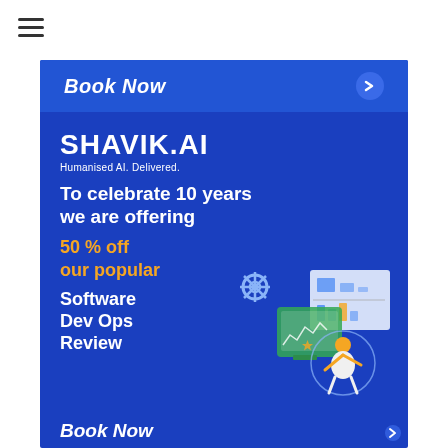[Figure (infographic): Hamburger menu icon (three horizontal lines) in top left corner of the page]
[Figure (infographic): SHAVIK.AI advertisement banner on blue background. Top section shows 'Book Now' in italic bold white text. Main body shows SHAVIK.AI logo and tagline 'Humanised AI. Delivered.' followed by 'To celebrate 10 years we are offering' in white bold, '50 % off our popular' in orange bold, 'Software Dev Ops Review' in white bold, an illustration of a person working at computer with analytics screens, and 'Book Now' at the bottom in white italic bold.]